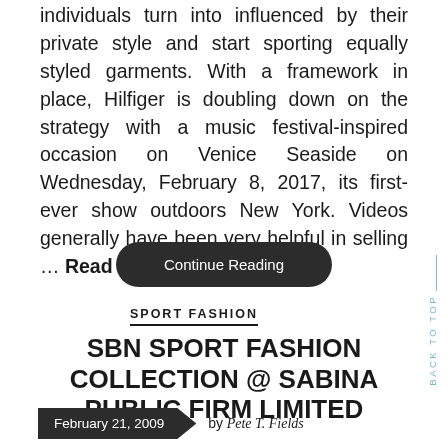individuals turn into influenced by their private style and start sporting equally styled garments. With a framework in place, Hilfiger is doubling down on the strategy with a music festival-inspired occasion on Venice Seaside on Wednesday, February 8, 2017, its first-ever show outdoors New York. Videos generally have been very helpful in selling … Read the rest
Continue Reading
SPORT FASHION
SBN SPORT FASHION COLLECTION @ SABINA PUBLIC FIRM LIMITED
February 21, 2009  by Pete T. Fields